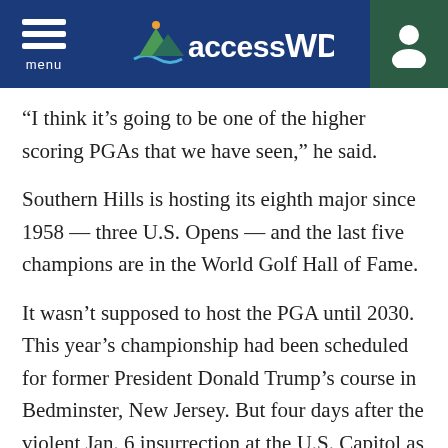accessWDUN
“I think it’s going to be one of the higher scoring PGAs that we have seen,” he said.
Southern Hills is hosting its eighth major since 1958 — three U.S. Opens — and the last five champions are in the World Golf Hall of Fame.
It wasn’t supposed to host the PGA until 2030. This year’s championship had been scheduled for former President Donald Trump’s course in Bedminster, New Jersey. But four days after the violent Jan. 6 insurrection at the U.S. Capitol as Congress was